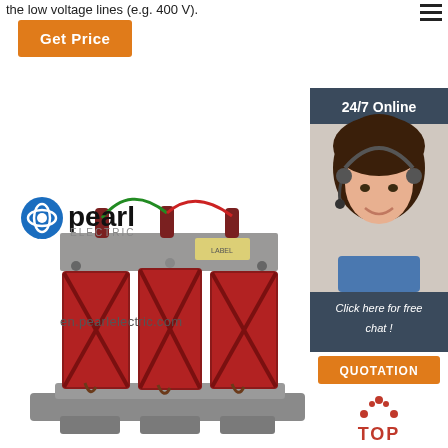the low voltage lines (e.g. 400 V).
[Figure (other): Orange 'Get Price' button]
[Figure (other): Hamburger menu icon (three horizontal lines)]
[Figure (photo): Pearl Electric dry-type transformer (three red coil units on gray base) with Pearl Electric logo overlay and URL en.pearlelectric.com]
[Figure (photo): 24/7 Online panel with female customer service agent wearing headset, 'Click here for free chat!' text, and orange QUOTATION button]
[Figure (other): Orange 'TOP' back-to-top button with dot-triangle icon]